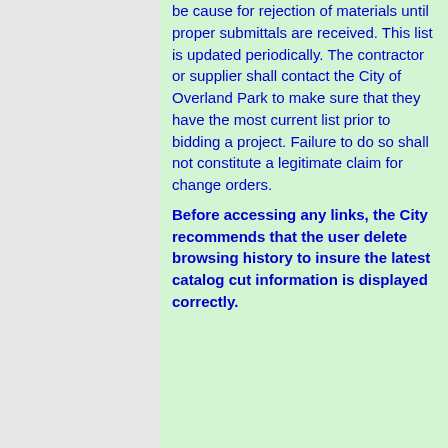be cause for rejection of materials until proper submittals are received. This list is updated periodically. The contractor or supplier shall contact the City of Overland Park to make sure that they have the most current list prior to bidding a project. Failure to do so shall not constitute a legitimate claim for change orders. Before accessing any links, the City recommends that the user delete browsing history to insure the latest catalog cut information is displayed correctly.